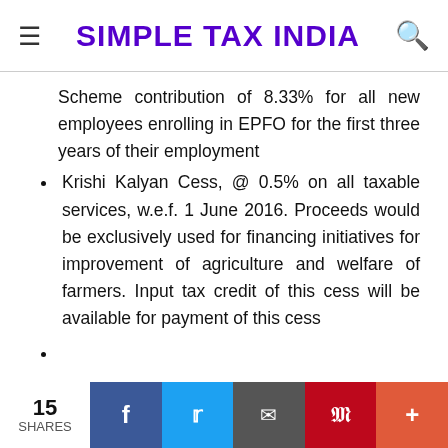SIMPLE TAX INDIA
Scheme contribution of 8.33% for all new employees enrolling in EPFO for the first three years of their employment
Krishi Kalyan Cess, @ 0.5% on all taxable services, w.e.f. 1 June 2016. Proceeds would be exclusively used for financing initiatives for improvement of agriculture and welfare of farmers. Input tax credit of this cess will be available for payment of this cess
15 SHARES | Facebook | Twitter | Email | Pinterest | More